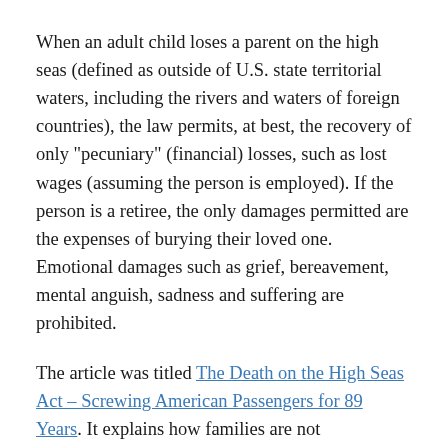When an adult child loses a parent on the high seas (defined as outside of U.S. state territorial waters, including the rivers and waters of foreign countries), the law permits, at best, the recovery of only "pecuniary" (financial) losses, such as lost wages (assuming the person is employed). If the person is a retiree, the only damages permitted are the expenses of burying their loved one. Emotional damages such as grief, bereavement, mental anguish, sadness and suffering are prohibited.
The article was titled The Death on the High Seas Act – Screwing American Passengers for 89 Years. It explains how families are not compensated because DOHSA prohibits non-pecuniary damages when their loved ones die on international waters. The cruise lines love DOSHA. Cruise lines have lobbied heavily over the years to keep the ancient maritime law on the books. DOSHA punishes